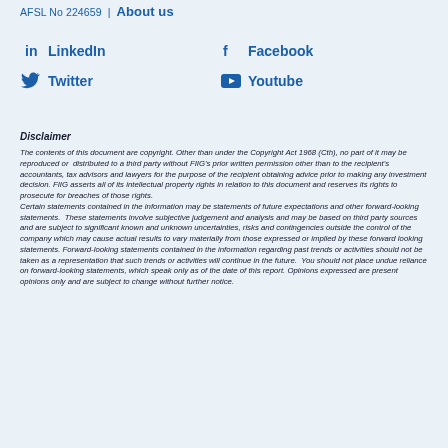AFSL No 224659 | About us
LinkedIn   Facebook   Twitter   Youtube
Disclaimer
The contents of this document are copyright. Other than under the Copyright Act 1968 (Cth), no part of it may be reproduced or distributed to a third party without FIIG's prior written permission other than to the recipient's accountants, tax advisors and lawyers for the purpose of the recipient obtaining advice prior to making any investment decision. FIIG asserts all of its intellectual property rights in relation to this document and reserves its rights to prosecute for breaches of those rights. Certain statements contained in the information may be statements of future expectations and other forward-looking statements. These statements involve subjective judgement and analysis and may be based on third party sources and are subject to significant known and unknown uncertainties, risks and contingencies outside the control of the company which may cause actual results to vary materially from those expressed or implied by these forward looking statements. Forward-looking statements contained in the information regarding past trends or activities should not be taken as a representation that such trends or activities will continue in the future. You should not place undue reliance on forward-looking statements, which speak only as of the date of this report. Opinions expressed are present opinions only and are subject to change without further notice.